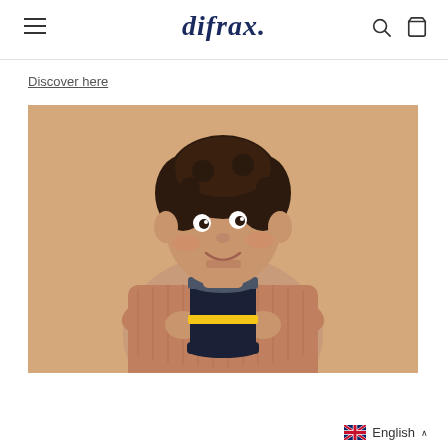difrax. [logo with hamburger menu, search icon, cart icon]
Discover here
[Figure (photo): A young toddler with curly dark hair wearing a beige/pink knit sweater, smiling and holding a dark navy blue cup/training cup with a yellow band and grey lid, seated against a warm beige background.]
English